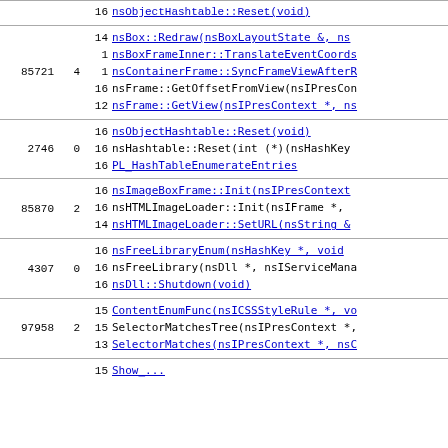|  |  | 16 nsObjectHashtable::Reset(void) |
| 85721 | 4 | 14 nsBox::Redraw(nsBoxLayoutState &, ns...
1 nsBoxFrameInner::TranslateEventCoords
1 nsContainerFrame::SyncFrameViewAfterR
16 nsFrame::GetOffsetFromView(nsIPresCon
12 nsFrame::GetView(nsIPresContext *, ns |
| 2746 | 0 | 16 nsObjectHashtable::Reset(void)
16 nsHashtable::Reset(int (*)(nsHashKey
16 PL_HashTableEnumerateEntries |
| 85870 | 2 | 16 nsImageBoxFrame::Init(nsIPresContext
16 nsHTMLImageLoader::Init(nsIFrame *, 
14 nsHTMLImageLoader::SetURL(nsString &) |
| 4307 | 0 | 16 nsFreeLibraryEnum(nsHashKey *, void 
16 nsFreeLibrary(nsDll *, nsIServiceMana
16 nsDll::Shutdown(void) |
| 97958 | 2 | 15 ContentEnumFunc(nsICSSStyleRule *, vo
15 SelectorMatchesTree(nsIPresContext *,
13 SelectorMatches(nsIPresContext *, nsC |